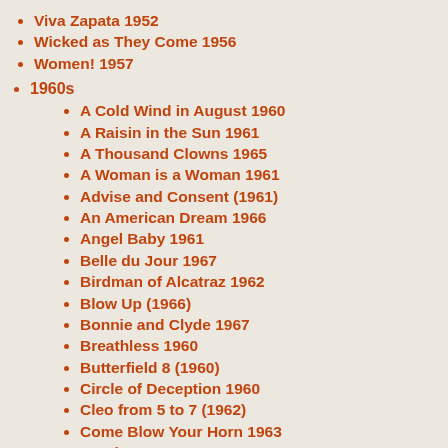Viva Zapata 1952
Wicked as They Come 1956
Women! 1957
1960s
A Cold Wind in August 1960
A Raisin in the Sun 1961
A Thousand Clowns 1965
A Woman is a Woman 1961
Advise and Consent (1961)
An American Dream 1966
Angel Baby 1961
Belle du Jour 1967
Birdman of Alcatraz 1962
Blow Up (1966)
Bonnie and Clyde 1967
Breathless 1960
Butterfield 8 (1960)
Circle of Deception 1960
Cleo from 5 to 7 (1962)
Come Blow Your Horn 1963
Coming Apart 1969
Darling 1963
Deathwatch 1966
Elmer Gantry 1960
Eva 1962